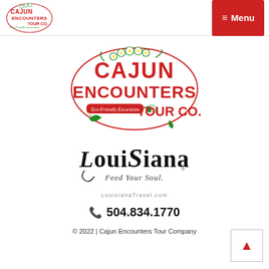[Figure (logo): Cajun Encounters Tour Co. small logo in header nav bar, with Eco-Friendly Excursions tagline]
[Figure (logo): Red Menu button with hamburger icon in header]
[Figure (logo): Large Cajun Encounters Tour Co. logo with floral decoration and Eco-Friendly Excursions tagline]
[Figure (logo): Louisiana Feed Your Soul logo in decorative serif text]
LouisianaTravel.com
504.834.1770
© 2022 | Cajun Encounters Tour Company